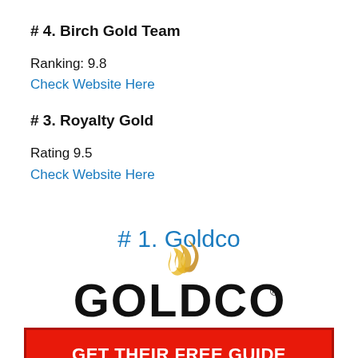# 4. Birch Gold Team
Ranking: 9.8
Check Website Here
# 3. Royalty Gold
Rating 9.5
Check Website Here
# 1. Goldco
[Figure (logo): Goldco company logo with golden flame swirl above bold GOLDCO text with registered trademark symbol]
GET THEIR FREE GUIDE